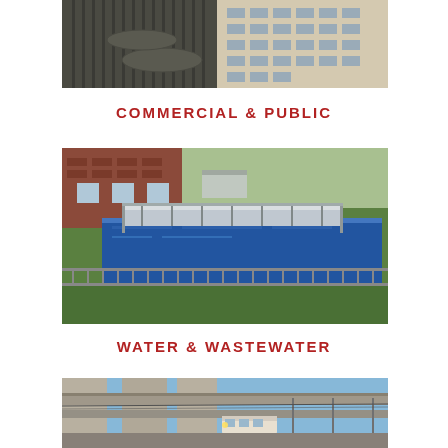[Figure (photo): Exterior view of a modern commercial building with curved balconies and vertical facade elements, adjacent to a beige concrete structure]
COMMERCIAL & PUBLIC
[Figure (photo): Aerial view of a water or wastewater treatment facility with blue clarifier tanks, metal grating walkway, brick building in background, green grass]
WATER & WASTEWATER
[Figure (photo): View of elevated highway bridge pillars/columns with a light rail train visible in background against a blue sky]